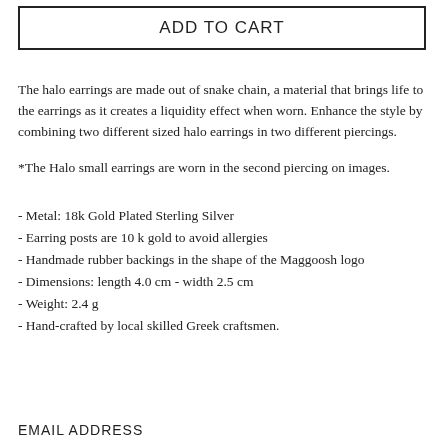ADD TO CART
The halo earrings are made out of snake chain, a material that brings life to the earrings as it creates a liquidity effect when worn. Enhance the style by combining two different sized halo earrings in two different piercings.
*The Halo small earrings are worn in the second piercing on images.
- Metal: 18k Gold Plated Sterling Silver
- Earring posts are 10 k gold to avoid allergies
- Handmade rubber backings in the shape of the Maggoosh logo
- Dimensions: length 4.0 cm - width 2.5 cm
- Weight: 2.4 g
- Hand-crafted by local skilled Greek craftsmen.
EMAIL ADDRESS